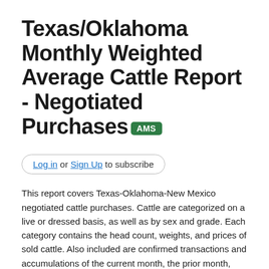Texas/Oklahoma Monthly Weighted Average Cattle Report - Negotiated Purchases AMS
Log in or Sign Up to subscribe
This report covers Texas-Oklahoma-New Mexico negotiated cattle purchases. Cattle are categorized on a live or dressed basis, as well as by sex and grade. Each category contains the head count, weights, and prices of sold cattle. Also included are confirmed transactions and accumulations of the current month, the prior month, and over the same time period last year.
Division: Livestock, Poultry and Seed Program
Frequency of Release: Monthly